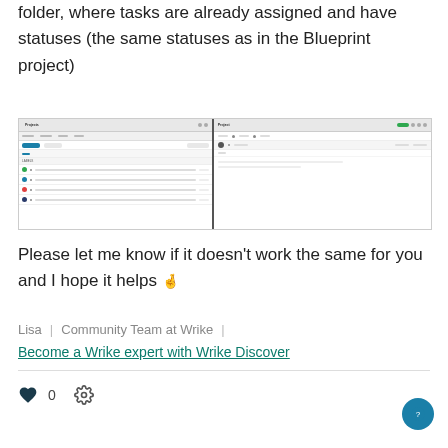folder, where tasks are already assigned and have statuses (the same statuses as in the Blueprint project)
[Figure (screenshot): Screenshot of Wrike project interface showing a project list view on the left and a task detail panel on the right]
Please let me know if it doesn't work the same for you and I hope it helps 🤞
Lisa  |  Community Team at Wrike  |
Become a Wrike expert with Wrike Discover
♥ 0  ⚙